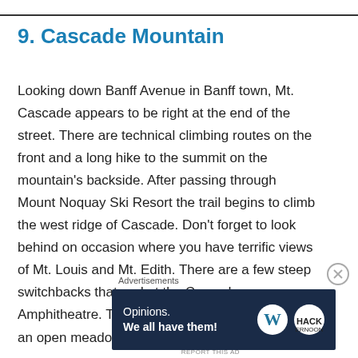9. Cascade Mountain
Looking down Banff Avenue in Banff town, Mt. Cascade appears to be right at the end of the street. There are technical climbing routes on the front and a long hike to the summit on the mountain's backside. After passing through Mount Noquay Ski Resort the trail begins to climb the west ridge of Cascade. Don't forget to look behind on occasion where you have terrific views of Mt. Louis and Mt. Edith. There are a few steep switchbacks that end at the Cascade Amphitheatre. This large cirque is beautiful with an open meadow closed in by the tall ridge of
Advertisements
[Figure (other): Advertisement banner: dark navy background with text 'Opinions. We all have them!' and WordPress and HackerNoon logos]